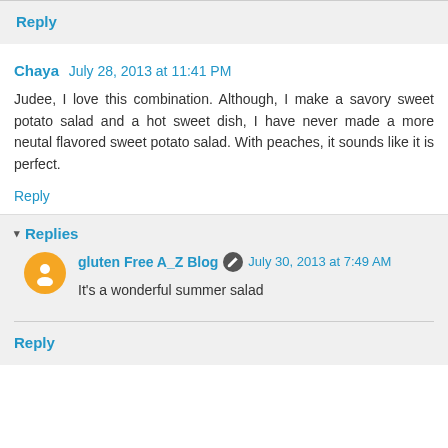Reply
Chaya  July 28, 2013 at 11:41 PM
Judee, I love this combination. Although, I make a savory sweet potato salad and a hot sweet dish, I have never made a more neutal flavored sweet potato salad. With peaches, it sounds like it is perfect.
Reply
Replies
gluten Free A_Z Blog  July 30, 2013 at 7:49 AM
It's a wonderful summer salad
Reply